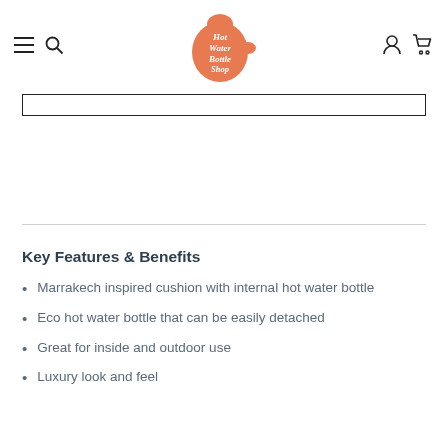Hot Water Bottle Shop — navigation header with hamburger menu, search icon, logo, user icon, and cart icon
[Figure (logo): Hot Water Bottle Shop logo: orange hot-water-bottle shaped icon with white cursive text reading 'Hot Water Bottle Shop']
Key Features & Benefits
Marrakech inspired cushion with internal hot water bottle
Eco hot water bottle that can be easily detached
Great for inside and outdoor use
Luxury look and feel